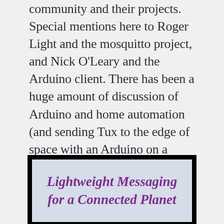community and their projects. Special mentions here to Roger Light and the mosquitto project, and Nick O'Leary and the Arduino client. There has been a huge amount of discussion of Arduino and home automation (and sending Tux to the edge of space with an Arduino on a balloon... unrelated to MQTT but awesome) at LCA 2011 so these aspects turned out to fit really well.
[Figure (screenshot): Presentation slide with light blue background and text 'Lightweight Messaging for a Connected Planet' in purple italic cursive font]